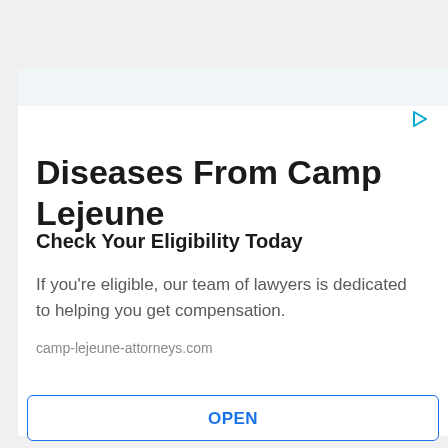Diseases From Camp Lejeune
Check Your Eligibility Today
If you're eligible, our team of lawyers is dedicated to helping you get compensation.
camp-lejeune-attorneys.com
OPEN